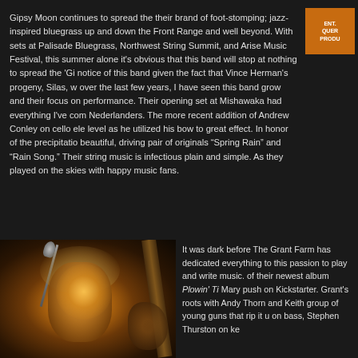Gipsy Moon continues to spread the their brand of foot-stomping; jazz-inspired bluegrass up and down the Front Range and well beyond. With sets at Palisade Bluegrass, Northwest String Summit, and Arise Music Festival, this summer alone it's obvious that this band will stop at nothing to spread the 'Gi notice of this band given the fact that Vince Herman's progeny, Silas, w over the last few years, I have seen this band grow and their focus on performance. Their opening set at Mishawaka had everything I've com Nederlanders. The more recent addition of Andrew Conley on cello ele level as he utilized his bow to great effect. In honor of the precipitatio beautiful, driving pair of originals "Spring Rain" and "Rain Song." Their string music is infectious plain and simple. As they played on the skies with happy music fans.
[Figure (photo): A musician playing guitar on stage under warm yellow stage lighting, leaning forward intensely. A microphone stand is visible to the left.]
It was dark before The Grant Farm has dedicated everything to this passion to play and write music. of their newest album Plowin' Ti Mary push on Kickstarter. Grant's roots with Andy Thorn and Keith group of young guns that rip it u on bass, Stephen Thurston on ke